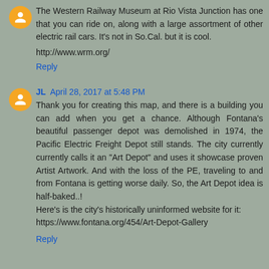The Western Railway Museum at Rio Vista Junction has one that you can ride on, along with a large assortment of other electric rail cars. It's not in So.Cal. but it is cool.
http://www.wrm.org/
Reply
JL April 28, 2017 at 5:48 PM
Thank you for creating this map, and there is a building you can add when you get a chance. Although Fontana's beautiful passenger depot was demolished in 1974, the Pacific Electric Freight Depot still stands. The city currently currently calls it an "Art Depot" and uses it showcase proven Artist Artwork. And with the loss of the PE, traveling to and from Fontana is getting worse daily. So, the Art Depot idea is half-baked..!
Here's is the city's historically uninformed website for it:
https://www.fontana.org/454/Art-Depot-Gallery
Reply